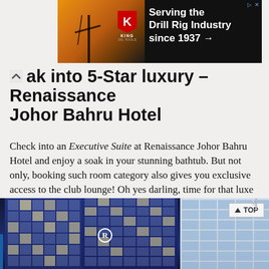[Figure (photo): King Oil Tools advertisement banner — 'Serving the Drill Rig Industry since 1937 →' with logo and drill rig background image]
Soak into 5-Star luxury – Renaissance Johor Bahru Hotel
Check into an Executive Suite at Renaissance Johor Bahru Hotel and enjoy a soak in your stunning bathtub. But not only, booking such room category also gives you exclusive access to the club lounge! Oh yes darling, time for that luxe life! Psst, if you're really into everything fancy and want to impress then level up to their Presidential Suite (just a tip).
[Figure (photo): Two photos of Renaissance Johor Bahru Hotel exterior — left: night shot of blue-lit hotel building with the R logo; right: daytime shot of hotel facade with blue sky background]